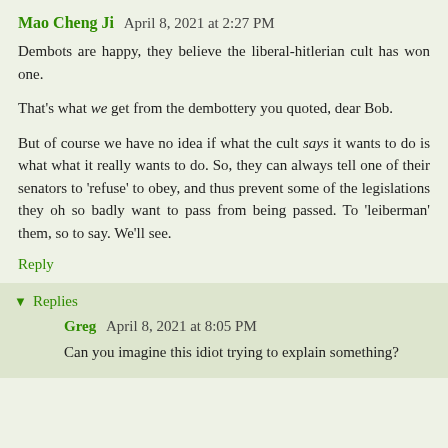Mao Cheng Ji  April 8, 2021 at 2:27 PM
Dembots are happy, they believe the liberal-hitlerian cult has won one.
That's what we get from the dembottery you quoted, dear Bob.
But of course we have no idea if what the cult says it wants to do is what what it really wants to do. So, they can always tell one of their senators to 'refuse' to obey, and thus prevent some of the legislations they oh so badly want to pass from being passed. To 'leiberman' them, so to say. We'll see.
Reply
Replies
Greg  April 8, 2021 at 8:05 PM
Can you imagine this idiot trying to explain something?